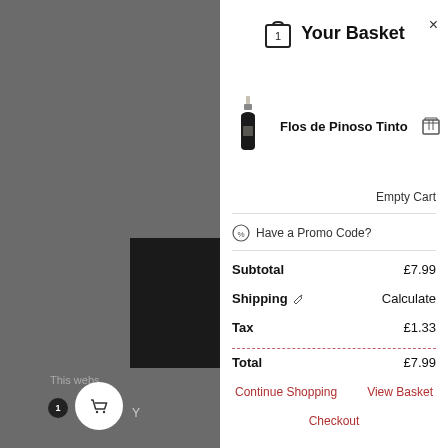Your Basket
Flos de Pinoso Tinto
Empty Cart
Have a Promo Code?
| Item | Amount |
| --- | --- |
| Subtotal | £7.99 |
| Shipping | Calculate |
| Tax | £1.33 |
| Total | £7.99 |
Continue Shopping
View Basket
Checkout